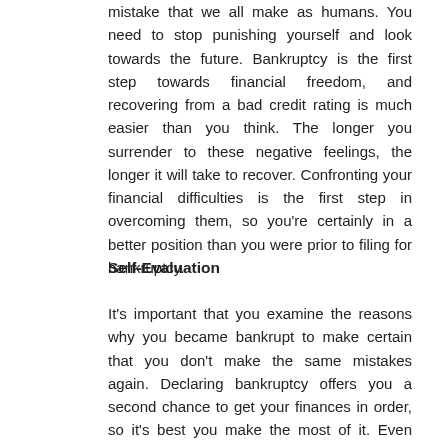mistake that we all make as humans. You need to stop punishing yourself and look towards the future. Bankruptcy is the first step towards financial freedom, and recovering from a bad credit rating is much easier than you think. The longer you surrender to these negative feelings, the longer it will take to recover. Confronting your financial difficulties is the first step in overcoming them, so you're certainly in a better position than you were prior to filing for bankruptcy.
Self-Evaluation
It's important that you examine the reasons why you became bankrupt to make certain that you don't make the same mistakes again. Declaring bankruptcy offers you a second chance to get your finances in order, so it's best you make the most of it. Even though there's possibly a range of reasons why you declared bankruptcy, most of them probably relate to bad spending and borrowing habits. So it's a good idea to produce a list of two or three